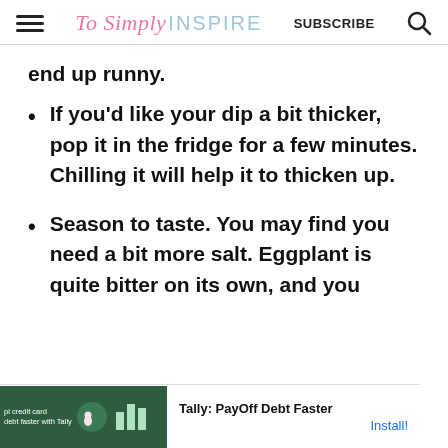To Simply INSPIRE  SUBSCRIBE
end up runny.
If you'd like your dip a bit thicker, pop it in the fridge for a few minutes. Chilling it will help it to thicken up.
Season to taste. You may find you need a bit more salt. Eggplant is quite bitter on its own, and you
[Figure (screenshot): Ad banner: Tally PayOff Debt Faster advertisement with green background and Install! link]